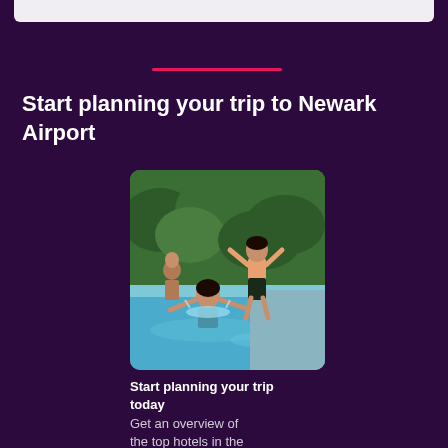Start planning your trip to Newark Airport
[Figure (photo): Family at a pool: a woman in the water with arms outstretched catching a boy jumping in, with another child and an adult visible in the background, surrounded by lush green hedge.]
Start planning your trip today
Get an overview of the top hotels in the